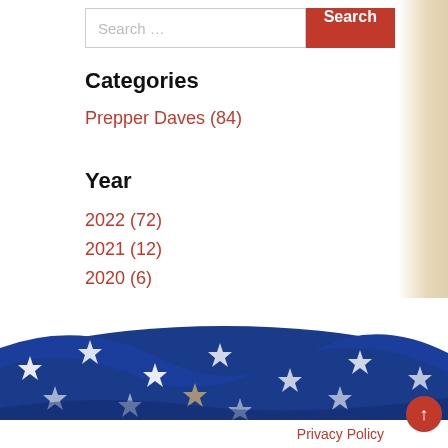Search ...
Categories
Prepper Daves (84)
Year
2022 (72)
2021 (12)
2020 (6)
[Figure (photo): American flag with white stars on blue background, draped on wooden surface]
Privacy Policy